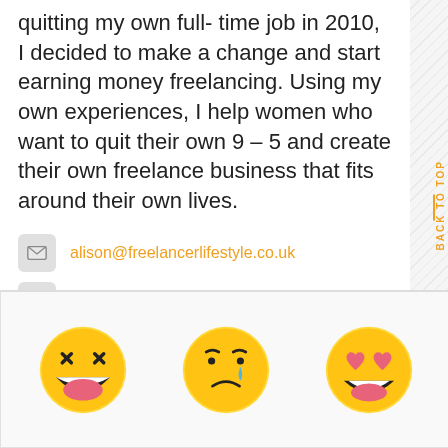quitting my own full-time job in 2010, I decided to make a change and start earning money freelancing. Using my own experiences, I help women who want to quit their own 9 - 5 and create their own freelance business that fits around their own lives.
alison@freelancerlifestyle.co.uk
https://freelancerlifestyle.co.uk
[Figure (illustration): Three emoji faces: laughing/squinting face, sad crying face, and heart-eyes smiling face]